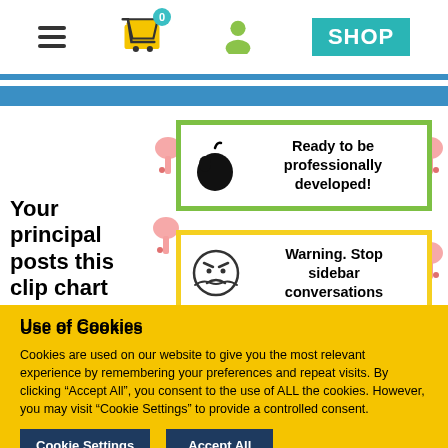[Figure (screenshot): Website header navigation bar with hamburger menu, shopping cart icon with badge '0', user icon, and SHOP button on teal background]
[Figure (illustration): Educational clip chart product image showing two cards: 'Ready to be professionally developed!' with apple icon (green border), and 'Warning. Stop sidebar conversations' with angry emoji (yellow border), with clothespin clip decorations on sides and 'Your principal posts this clip chart' text on left]
Use of Cookies
Cookies are used on our website to give you the most relevant experience by remembering your preferences and repeat visits. By clicking “Accept All”, you consent to the use of ALL the cookies. However, you may visit “Cookie Settings” to provide a controlled consent.
Cookie Settings
Accept All